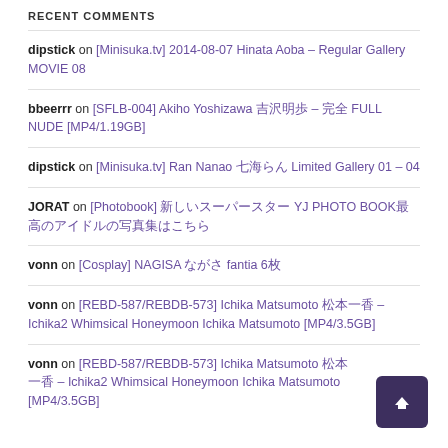RECENT COMMENTS
dipstick on [Minisuka.tv] 2014-08-07 Hinata Aoba – Regular Gallery MOVIE 08
bbeerrr on [SFLB-004] Akiho Yoshizawa 吉沢明歩 – 完全 FULL NUDE [MP4/1.19GB]
dipstick on [Minisuka.tv] Ran Nanao 七海らん Limited Gallery 01 – 04
JORAT on [Photobook] 新しいスーパースター YJ PHOTO BOOK最高のアイドルの写真集はこちら
vonn on [Cosplay] NAGISA ながさ fantia 6枚
vonn on [REBD-587/REBDB-573] Ichika Matsumoto 松本一香 – Ichika2 Whimsical Honeymoon Ichika Matsumoto [MP4/3.5GB]
vonn on [REBD-587/REBDB-573] Ichika Matsumoto 松本一香 – Ichika2 Whimsical Honeymoon Ichika Matsumoto [MP4/3.5GB]